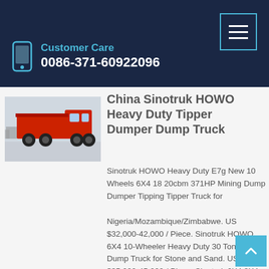Customer Care
0086-371-60922096
[Figure (photo): Red Sinotruk HOWO heavy duty dump truck photograph]
China Sinotruk HOWO Heavy Duty Tipper Dumper Dump Truck
Sinotruk HOWO Heavy Duty E7g New 10 Wheels 6X4 18 20cbm 371HP Mining Dump Dumper Tipping Tipper Truck for Nigeria/Mozambique/Zimbabwe. US $32,000-42,000 / Piece. Sinotruk HOWO 6X4 10-Wheeler Heavy Duty 30 Tons Tipper Dump Truck for Stone and Sand. US $35,000-45,000 / Piece. Sinotruk 6X4 8X4 E7 30t New Cabin Rhd Tipper Truck for Mozambique